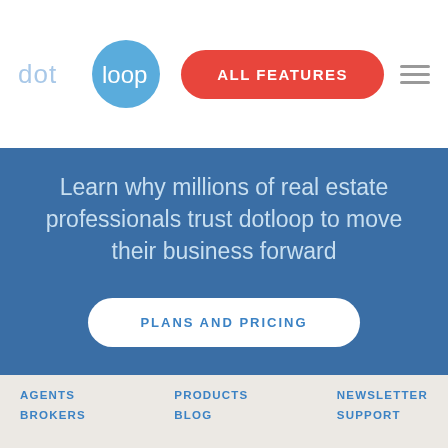[Figure (logo): dotloop logo: 'dot' text in light blue followed by a blue circle containing 'loop' in white]
ALL FEATURES
Learn why millions of real estate professionals trust dotloop to move their business forward
PLANS AND PRICING
AGENTS
PRODUCTS
NEWSLETTER
BROKERS
BLOG
SUPPORT